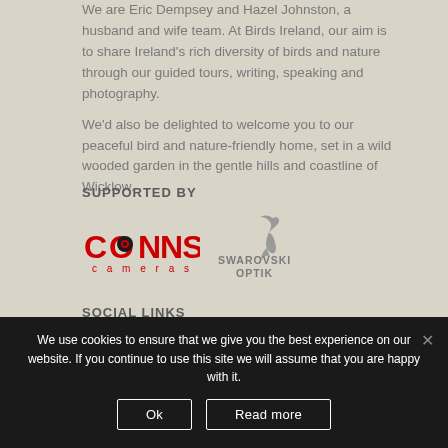We are Eric Dempsey and Hazel Johnston, a husband and wife team. At Birds Ireland, our aim is to share Ireland's rich diversity of birds and nature through our guided tours, writing, speaking and photography. We'd also be delighted to welcome you to our peaceful bird and nature-friendly home, set in a wild wooded garden in the gentle hills and coastline of Wicklow.
SUPPORTED BY
[Figure (logo): Conns Cameras logo in red with a camera lens icon]
[Figure (logo): Swarovski Optik logo with bird silhouette in grey]
SOCIAL LINKS
We use cookies to ensure that we give you the best experience on our website. If you continue to use this site we will assume that you are happy with it.